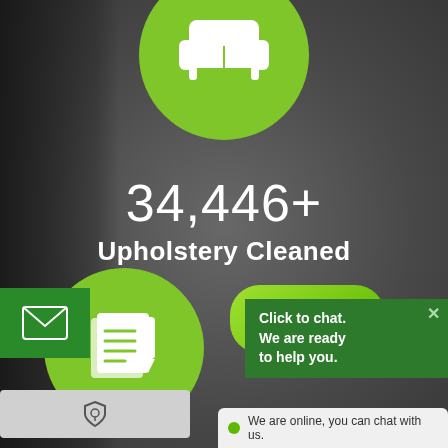[Figure (infographic): Green circle with white sofa/armchair icon at top center of page]
34,446+
Upholstery Cleaned
[Figure (infographic): Green circle with white notepad/checklist icon at bottom center]
[Figure (infographic): Green envelope/email button at bottom left]
[Figure (infographic): Chat bubble button with text 'Chat']
Click to chat. We are ready to help you.
[Figure (infographic): Gray security/shield badge at bottom left]
We are online, you can chat with us.